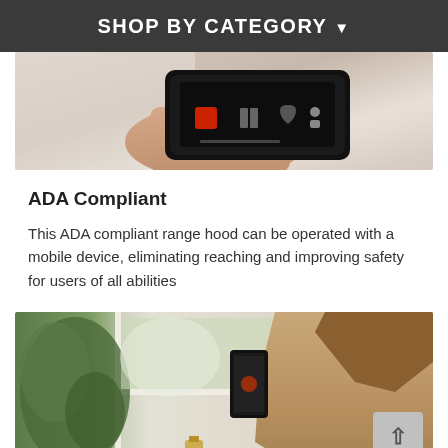SHOP BY CATEGORY
[Figure (photo): A hand holding a dark smart device/phone with a control interface screen visible, showing icons including a red symbol and other controls]
ADA Compliant
This ADA compliant range hood can be operated with a mobile device, eliminating reaching and improving safety for users of all abilities
[Figure (photo): A woman seen from behind holding a smartphone, standing near a window with greenery visible in the background]